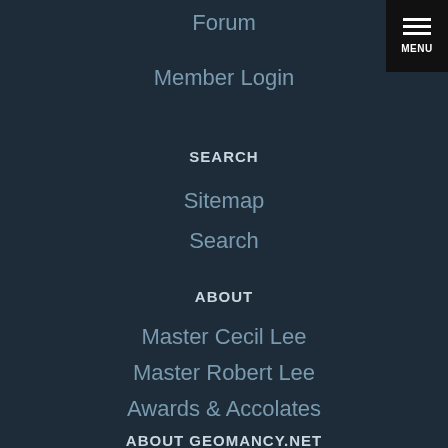Forum
Member Login
SEARCH
Sitemap
Search
ABOUT
Master Cecil Lee
Master Robert Lee
Awards & Accolates
ABOUT GEOMANCY.NET